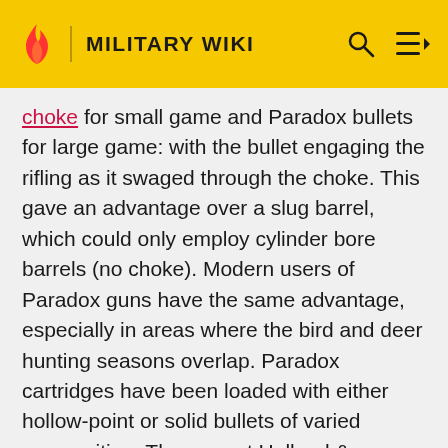MILITARY WIKI
choke for small game and Paradox bullets for large game: with the bullet engaging the rifling as it swaged through the choke. This gave an advantage over a slug barrel, which could only employ cylinder bore barrels (no choke). Modern users of Paradox guns have the same advantage, especially in areas where the bird and deer hunting seasons overlap. Paradox cartridges have been loaded with either hollow-point or solid bullets of varied composition. The current Holland & Holland cartridge is loaded with the most useful of these, the 740 grain lead solid.
[Figure (photo): Gray image placeholder at bottom of page]